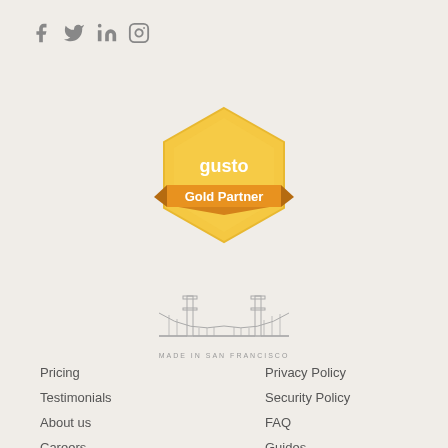[Figure (logo): Social media icons: Facebook, Twitter, LinkedIn, Instagram in gray]
[Figure (logo): Gusto Gold Partner badge — hexagonal gold badge with orange ribbon and text 'gusto Gold Partner']
[Figure (illustration): Golden Gate Bridge line drawing with text 'MADE IN SAN FRANCISCO' below]
Pricing
Privacy Policy
Testimonials
Security Policy
About us
FAQ
Careers
Guides